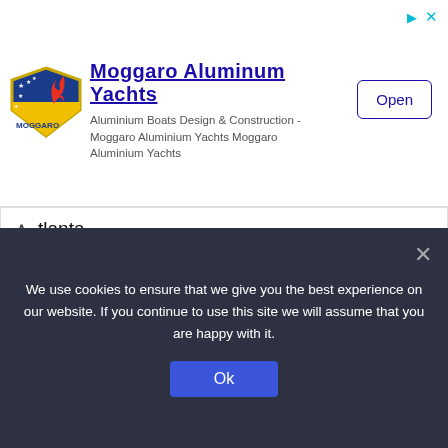[Figure (logo): Moggaro Aluminum Yachts advertisement banner with logo, company name, description, and Open button]
tlanta
10 mins ago
Takeaways From MLB's New Top Prospect List | Minnesota Twins Top Prospects
@2022 - All Right Reserved. Designed and Developed by RMFMUS
Home   About Us   Contact Us   Disclaimer   DMCA   Privacy Policy
We use cookies to ensure that we give you the best experience on our website. If you continue to use this site we will assume that you are happy with it.
Ok